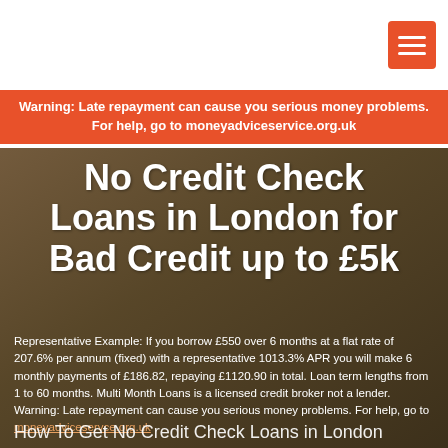Warning: Late repayment can cause you serious money problems. For help, go to moneyadviceservice.org.uk
No Credit Check Loans in London for Bad Credit up to £5k
Representative Example: If you borrow £550 over 6 months at a flat rate of 207.6% per annum (fixed) with a representative 1013.3% APR you will make 6 monthly payments of £186.82, repaying £1120.90 in total. Loan term lengths from 1 to 60 months. Multi Month Loans is a licensed credit broker not a lender. Warning: Late repayment can cause you serious money problems. For help, go to moneyadviceservce.org.uk
How To Get No Credit Check Loans in London